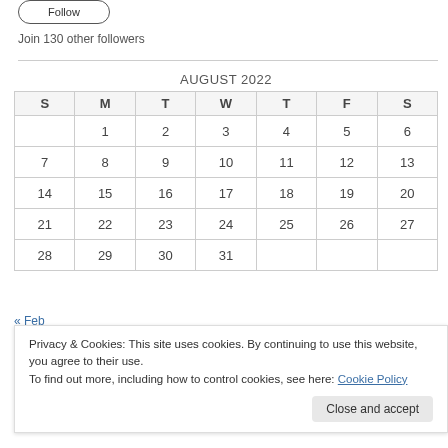Follow
Join 130 other followers
| S | M | T | W | T | F | S |
| --- | --- | --- | --- | --- | --- | --- |
|  | 1 | 2 | 3 | 4 | 5 | 6 |
| 7 | 8 | 9 | 10 | 11 | 12 | 13 |
| 14 | 15 | 16 | 17 | 18 | 19 | 20 |
| 21 | 22 | 23 | 24 | 25 | 26 | 27 |
| 28 | 29 | 30 | 31 |  |  |  |
« Feb
Privacy & Cookies: This site uses cookies. By continuing to use this website, you agree to their use.
To find out more, including how to control cookies, see here: Cookie Policy
Close and accept